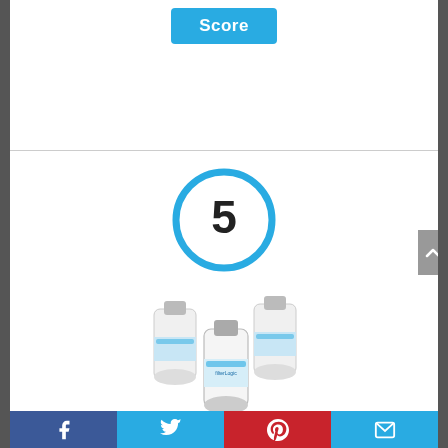[Figure (other): Blue 'Score' button/badge at top of page]
[Figure (other): Number 5 inside a teal/blue circle, representing a product ranking score]
[Figure (photo): Product photo: three FilterLogic DA29-00003G refrigerator water filters grouped together]
FilterLogic DA29-00003G Refrigerator Water
[Figure (other): Social sharing bar at bottom with Facebook, Twitter, Pinterest, and email icons]